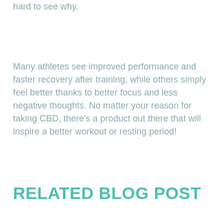hard to see why.
Many athletes see improved performance and faster recovery after training, while others simply feel better thanks to better focus and less negative thoughts. No matter your reason for taking CBD, there’s a product out there that will inspire a better workout or resting period!
RELATED BLOG POST